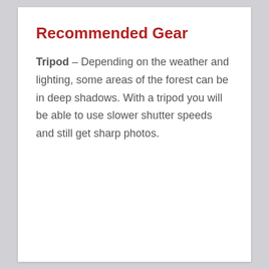Recommended Gear
Tripod – Depending on the weather and lighting, some areas of the forest can be in deep shadows. With a tripod you will be able to use slower shutter speeds and still get sharp photos.